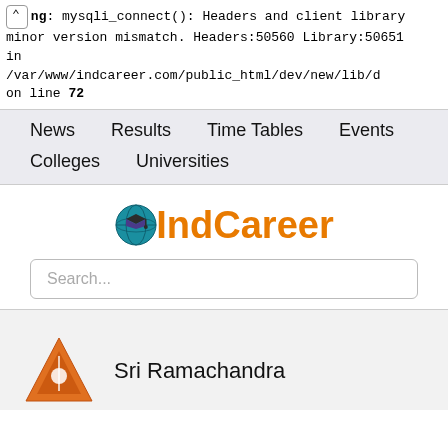Warning: mysqli_connect(): Headers and client library minor version mismatch. Headers:50560 Library:50651 in /var/www/indcareer.com/public_html/dev/new/lib/d on line 72
News  Results  Time Tables  Events
Colleges  Universities
[Figure (logo): eIndCareer logo with globe icon and orange bold text]
Search...
Sri Ramachandra
[Figure (logo): Orange triangle institution logo]